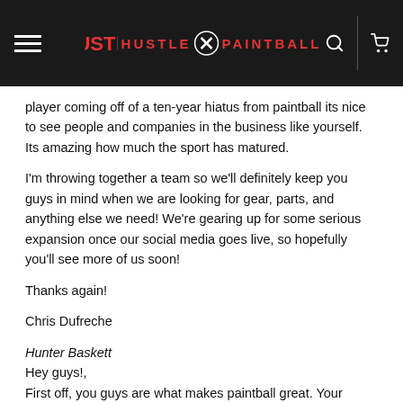HUSTLE PAINTBALL
player coming off of a ten-year hiatus from paintball its nice to see people and companies in the business like yourself. Its amazing how much the sport has matured.
I'm throwing together a team so we'll definitely keep you guys in mind when we are looking for gear, parts, and anything else we need! We're gearing up for some serious expansion once our social media goes live, so hopefully you'll see more of us soon!
Thanks again!
Chris Dufreche
Hunter Baskett
Hey guys!,
First off, you guys are what makes paintball great. Your videos are fantastic and I've learned so much from them. I only wish I lived in Colorado so I could work for such a great company. (I tried sending this to icanworkbetterthanchriscan@hustlepaintball.com... You got me.) I live in Oklahoma and in my area (Tulsa) paintball isn't really the biggest game...